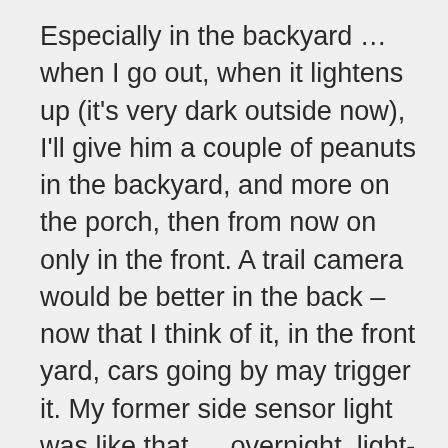Especially in the backyard … when I go out, when it lightens up (it's very dark outside now), I'll give him a couple of peanuts in the backyard, and more on the porch, then from now on only in the front. A trail camera would be better in the back – now that I think of it, in the front yard, cars going by may trigger it. My former side sensor light was like that … overnight, light-colored cars would turn the light on. We found that out as it shone in Marge's bedroom window so it had to be adjusted. This light is fine. Since I am later this morning, I will be